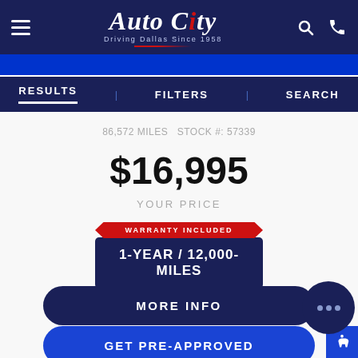Auto City — Driving Dallas Since 1958
RESULTS  FILTERS  SEARCH
86,572 MILES  STOCK #: 57339
$16,995
YOUR PRICE
WARRANTY INCLUDED
1-YEAR / 12,000-MILES
MORE INFO
GET PRE-APPROVED